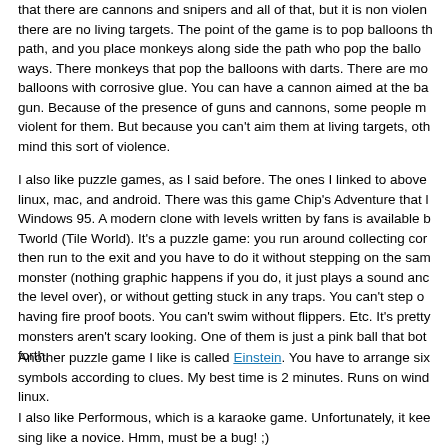that there are cannons and snipers and all of that, but it is non violent there are no living targets. The point of the game is to pop balloons th path, and you place monkeys along side the path who pop the ballo ways. There monkeys that pop the balloons with darts. There are mo balloons with corrosive glue. You can have a cannon aimed at the ba gun. Because of the presence of guns and cannons, some people m violent for them. But because you can't aim them at living targets, oth mind this sort of violence.
I also like puzzle games, as I said before. The ones I linked to above linux, mac, and android. There was this game Chip's Adventure that l Windows 95. A modern clone with levels written by fans is available b Tworld (Tile World). It's a puzzle game: you run around collecting cor then run to the exit and you have to do it without stepping on the sam monster (nothing graphic happens if you do, it just plays a sound anc the level over), or without getting stuck in any traps. You can't step o having fire proof boots. You can't swim without flippers. Etc. It's pretty monsters aren't scary looking. One of them is just a pink ball that bot forth.
Another puzzle game I like is called Einstein. You have to arrange six symbols according to clues. My best time is 2 minutes. Runs on wind linux.
I also like Performous, which is a karaoke game. Unfortunately, it kee sing like a novice. Hmm, must be a bug! ;)